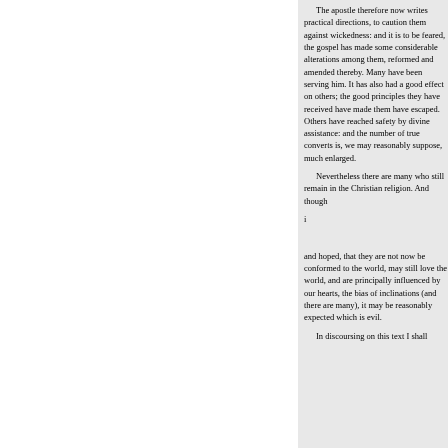The apostle therefore now writes practical directions, to caution them against wickedness: and it is to be feared, the gospel has made some considerable alterations among them, reformed and amended thereby. Many have been turned from serving him. It has also had a good effect on others; the good principles they have received have made them have escaped. Others have reached safety by divine assistance: and the number of true converts is, we may reasonably suppose, much enlarged.

Nevertheless there are many who still remain in the Christian religion. And though

i

and hoped, that they are not now conformed to be conformed to the world, may still love the world, and are principally influenced by the world; our hearts, the bias of inclination (and there are many), it may be reasonably expected which is evil.

In discoursing on this text I shall